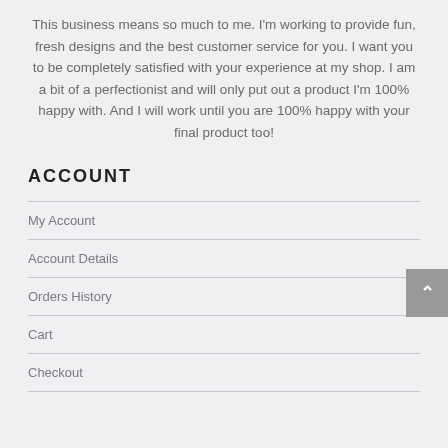This business means so much to me. I'm working to provide fun, fresh designs and the best customer service for you. I want you to be completely satisfied with your experience at my shop. I am a bit of a perfectionist and will only put out a product I'm 100% happy with. And I will work until you are 100% happy with your final product too!
ACCOUNT
My Account
Account Details
Orders History
Cart
Checkout